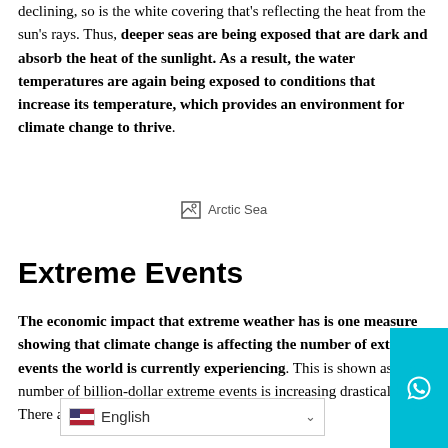declining, so is the white covering that's reflecting the heat from the sun's rays. Thus, deeper seas are being exposed that are dark and absorb the heat of the sunlight. As a result, the water temperatures are again being exposed to conditions that increase its temperature, which provides an environment for climate change to thrive.
[Figure (photo): Broken image placeholder labeled 'Arctic Sea']
Extreme Events
The economic impact that extreme weather has is one measure showing that climate change is affecting the number of extreme events the world is currently experiencing. This is shown as the number of billion-dollar extreme events is increasing drastically. There are many diff... are known to be influenced by